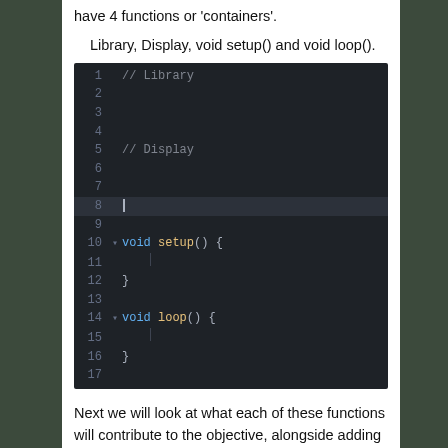have 4 functions or 'containers'.
Library, Display, void setup() and void loop().
[Figure (screenshot): Code editor screenshot showing Arduino-style code with 17 lines. Lines 1 and 5 have comments '// Library' and '// Display'. Line 8 has a cursor. Line 10 has 'void setup() {' and line 12 closes with '}'. Line 14 has 'void loop() {' and line 16 closes with '}'. Line 17 is empty.]
Next we will look at what each of these functions will contribute to the objective, alongside adding some real C++ code to it!